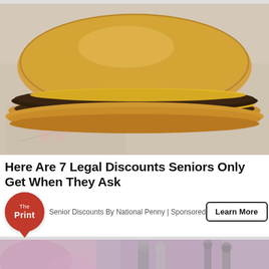[Figure (photo): Close-up photo of a double cheeseburger with two beef patties, melted yellow cheese, and pickles on a sesame-free bun, resting on white fast food wrapper paper.]
Here Are 7 Legal Discounts Seniors Only Get When They Ask
Senior Discounts By National Penny | Sponsored
[Figure (logo): The Print logo — red circle with white text 'The Print' and a downward-pointing tail, resembling a speech bubble.]
[Figure (photo): Partially visible black-and-white/pink tinted photo at the bottom showing people standing, cropped.]